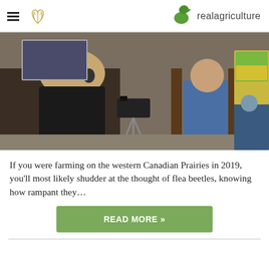realagriculture
[Figure (photo): A woman with blonde hair wearing headphones and a black outfit operates a camera on a tripod at what appears to be an agricultural trade show or conference. A bald man in a blue jacket stands in the background in front of a yellow field image on a display.]
If you were farming on the western Canadian Prairies in 2019, you’ll most likely shudder at the thought of flea beetles, knowing how rampant they…
READ MORE »